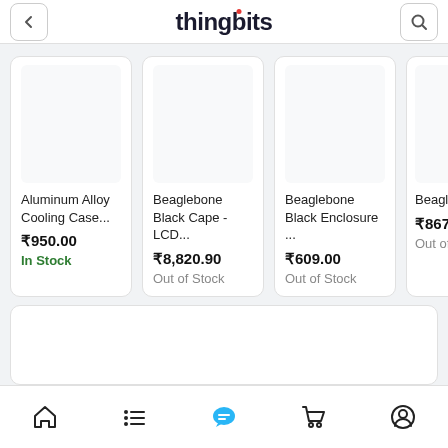thingbits
[Figure (screenshot): Product card: Aluminum Alloy Cooling Case... ₹950.00 In Stock]
[Figure (screenshot): Product card: Beaglebone Black Cape - LCD... ₹8,820.90 Out of Stock]
[Figure (screenshot): Product card: Beaglebone Black Enclosure ... ₹609.00 Out of Stock]
[Figure (screenshot): Partial product card: Beagleb Black Enclosu ₹867.90 Out of S]
[Figure (screenshot): Large empty product card below]
About Us    Contact Us
Home | List | Chat | Cart | Profile navigation icons